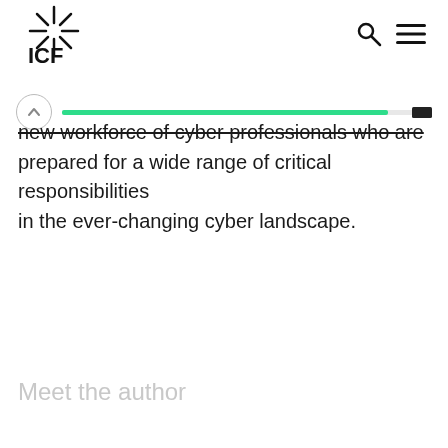ICF
new workforce of cyber professionals who are prepared for a wide range of critical responsibilities in the ever-changing cyber landscape.
Meet the author